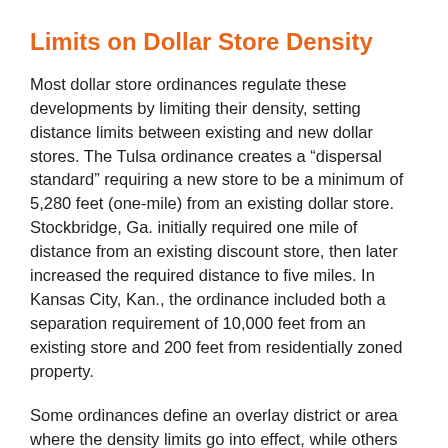Limits on Dollar Store Density
Most dollar store ordinances regulate these developments by limiting their density, setting distance limits between existing and new dollar stores. The Tulsa ordinance creates a “dispersal standard” requiring a new store to be a minimum of 5,280 feet (one-mile) from an existing dollar store. Stockbridge, Ga. initially required one mile of distance from an existing discount store, then later increased the required distance to five miles. In Kansas City, Kan., the ordinance included both a separation requirement of 10,000 feet from an existing store and 200 feet from residentially zoned property.
Some ordinances define an overlay district or area where the density limits go into effect, while others apply citywide or on a retail district basis.